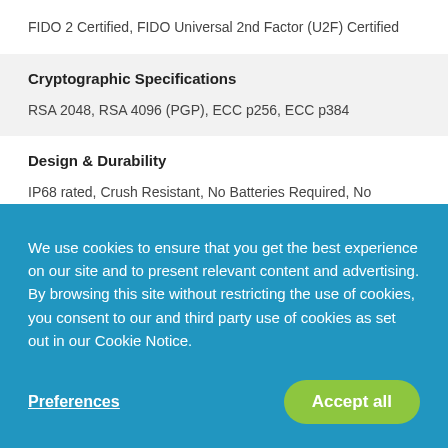FIDO 2 Certified, FIDO Universal 2nd Factor (U2F) Certified
Cryptographic Specifications
RSA 2048, RSA 4096 (PGP), ECC p256, ECC p384
Design & Durability
IP68 rated, Crush Resistant, No Batteries Required, No
We use cookies to ensure that you get the best experience on our site and to present relevant content and advertising. By browsing this site without restricting the use of cookies, you consent to our and third party use of cookies as set out in our Cookie Notice.
Preferences
Accept all